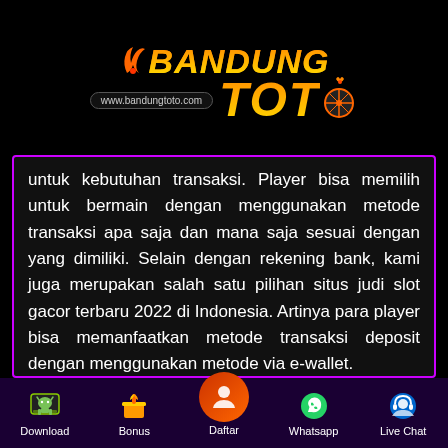[Figure (logo): BandungToto logo with orange/yellow gradient text on black background, flame icons, and www.bandungtoto.com URL badge]
untuk kebutuhan transaksi. Player bisa memilih untuk bermain dengan menggunakan metode transaksi apa saja dan mana saja sesuai dengan yang dimiliki. Selain dengan rekening bank, kami juga merupakan salah satu pilihan situs judi slot gacor terbaru 2022 di Indonesia. Artinya para player bisa memanfaatkan metode transaksi deposit dengan menggunakan metode via e-wallet.

Lalu kemudian di samping itu kami juga memberikan kemudahan untuk Kamu bisa
Download  Bonus  Daftar  Whatsapp  Live Chat